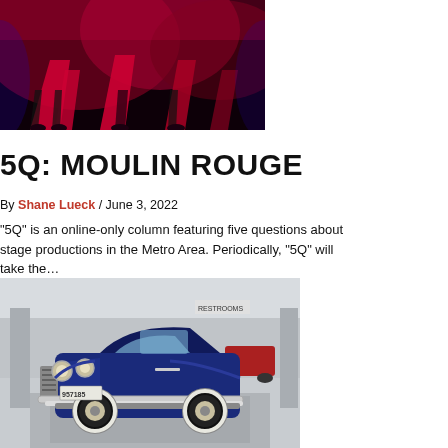[Figure (photo): Stage performers in red costumes under red/purple dramatic lighting, lower bodies visible]
5Q: MOULIN ROUGE
By Shane Lueck / June 3, 2022
“5Q” is an online-only column featuring five questions about stage productions in the Metro Area. Periodically, “5Q” will take the…
[Figure (photo): A vintage dark blue classic car (antique automobile with white-wall tires and license plate 957185) displayed indoors in what appears to be a convention center or exhibition hall]